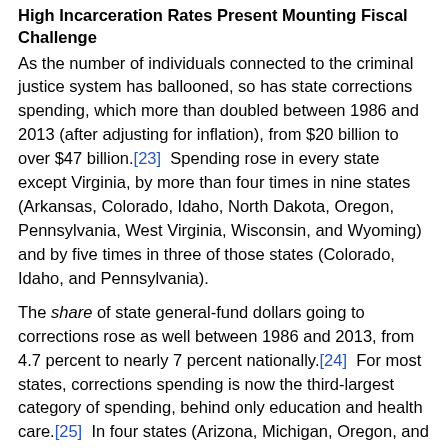High Incarceration Rates Present Mounting Fiscal Challenge
As the number of individuals connected to the criminal justice system has ballooned, so has state corrections spending, which more than doubled between 1986 and 2013 (after adjusting for inflation), from $20 billion to over $47 billion.[23]  Spending rose in every state except Virginia, by more than four times in nine states (Arkansas, Colorado, Idaho, North Dakota, Oregon, Pennsylvania, West Virginia, Wisconsin, and Wyoming) and by five times in three of those states (Colorado, Idaho, and Pennsylvania).
The share of state general-fund dollars going to corrections rose as well between 1986 and 2013, from 4.7 percent to nearly 7 percent nationally.[24]  For most states, corrections spending is now the third-largest category of spending, behind only education and health care.[25]  In four states (Arizona, Michigan, Oregon, and Vermont), corrections accounts for more than 11 percent of state general fund spending.
Growth in corrections spending has outpaced growth in expenditures in other critical areas of state budgets, such as K-12 and higher education. State spending on higher